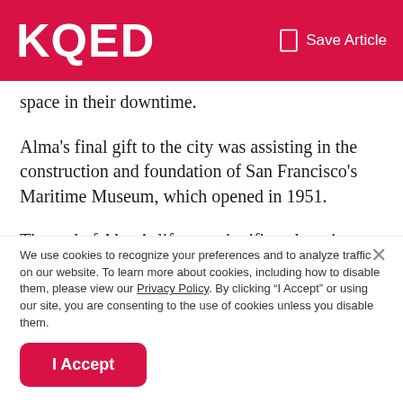KQED | Save Article
space in their downtime.
Alma's final gift to the city was assisting in the construction and foundation of San Francisco's Maritime Museum, which opened in 1951.
The end of Alma’s life was significantly quieter than the beginning. After her son died in 1961, she stopped socializing and retreated to the comforts of her mansion. She
We use cookies to recognize your preferences and to analyze traffic on our website. To learn more about cookies, including how to disable them, please view our Privacy Policy. By clicking “I Accept” or using our site, you are consenting to the use of cookies unless you disable them.
I Accept